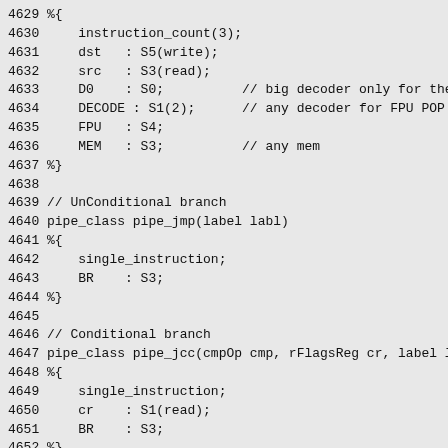4629 %{
4630     instruction_count(3);
4631     dst   : S5(write);
4632     src   : S3(read);
4633     D0    : S0;          // big decoder only for the
4634     DECODE : S1(2);     // any decoder for FPU POP
4635     FPU   : S4;
4636     MEM   : S3;          // any mem
4637 %}
4638 
4639 // UnConditional branch
4640 pipe_class pipe_jmp(label labl)
4641 %{
4642     single_instruction;
4643     BR    : S3;
4644 %}
4645 
4646 // Conditional branch
4647 pipe_class pipe_jcc(cmpOp cmp, rFlagsReg cr, label l
4648 %{
4649     single_instruction;
4650     cr    : S1(read);
4651     BR    : S3;
4652 %}
4653 
4654 // Allocation idiom
4655 pipe_class pipe_cmpxchg(rRegP dst, rRegP heap_ptr)
4656 %{
4657     instruction_count(1); force_serialization;
4658     fixed_latency(6);
4659     heap_ptr : S3(read);